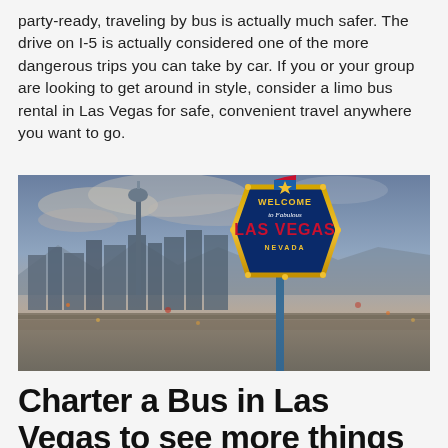party-ready, traveling by bus is actually much safer. The drive on I-5 is actually considered one of the more dangerous trips you can take by car. If you or your group are looking to get around in style, consider a limo bus rental in Las Vegas for safe, convenient travel anywhere you want to go.
[Figure (photo): Photo of the Las Vegas skyline at dusk with the famous 'Welcome to Fabulous Las Vegas Nevada' sign in the foreground and the Stratosphere tower visible in the background.]
Charter a Bus in Las Vegas to see more things